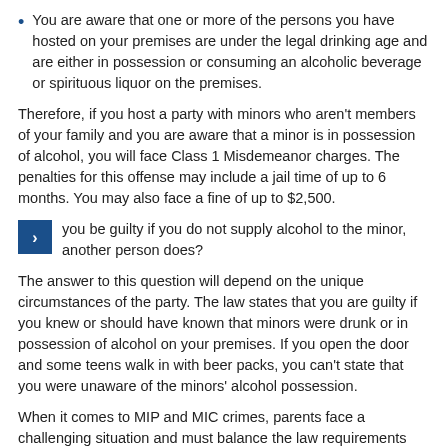You are aware that one or more of the persons you have hosted on your premises are under the legal drinking age and are either in possession or consuming an alcoholic beverage or spirituous liquor on the premises.
Therefore, if you host a party with minors who aren't members of your family and you are aware that a minor is in possession of alcohol, you will face Class 1 Misdemeanor charges. The penalties for this offense may include a jail time of up to 6 months. You may also face a fine of up to $2,500.
you be guilty if you do not supply alcohol to the minor, another person does?
The answer to this question will depend on the unique circumstances of the party. The law states that you are guilty if you knew or should have known that minors were drunk or in possession of alcohol on your premises. If you open the door and some teens walk in with beer packs, you can't state that you were unaware of the minors' alcohol possession.
When it comes to MIP and MIC crimes, parents face a challenging situation and must balance the law requirements and the desire to please their children. While facing the realities for adversing this in most abuse